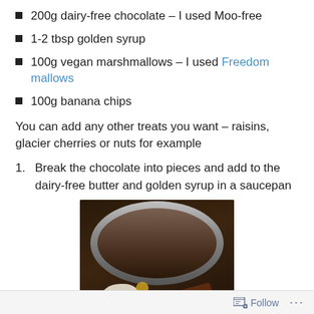200g dairy-free chocolate – I used Moo-free
1-2 tbsp golden syrup
100g vegan marshmallows – I used Freedom mallows
100g banana chips
You can add any other treats you want – raisins, glacier cherries or nuts for example
Break the chocolate into pieces and add to the dairy-free butter and golden syrup in a saucepan
[Figure (photo): Photo of a saucepan viewed from above containing chocolate pieces, dairy-free butter, and golden syrup]
Follow ...